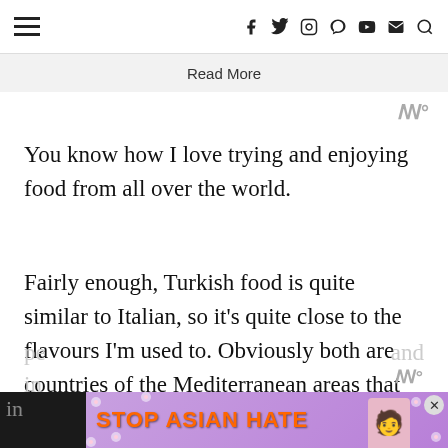≡  f  𝕏  ○  ⊕  ▶  ✉  🔍
Read More
[Figure (logo): Wireframe/Mediavine logo mark - stylized W with degree symbol]
You know how I love trying and enjoying food from all over the world.
Fairly enough, Turkish food is quite similar to Italian, so it's quite close to the flavours I'm used to. Obviously both are countries of the Mediterranean areas that share an awesome fresh produce with vegetables like tomatoes,
[Figure (screenshot): Stop Asian Hate advertisement banner with purple floral background, orange bold text reading STOP ASIAN HATE with an anime-style character illustration]
and in